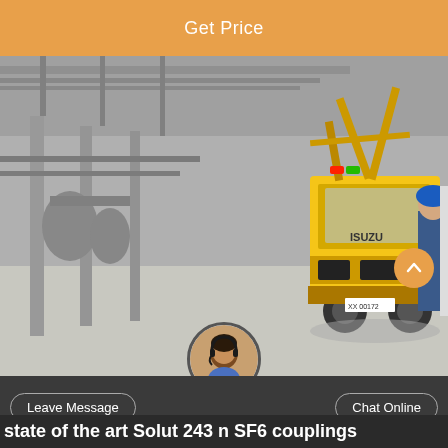Get Price
[Figure (photo): Yellow Isuzu truck with aerial work platform parked inside an industrial warehouse/factory. A worker in a blue hard hat is visible on the right side. The background shows industrial piping and structural columns.]
state of the art Solut 243 n SF6 couplings
Leave Message
Chat Online